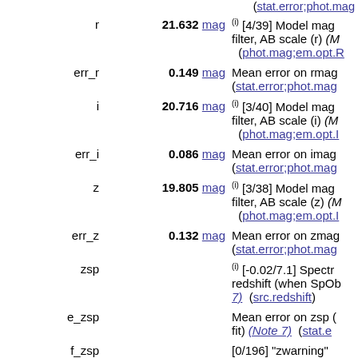(stat.error;phot.mag [truncated at top]
| Name | Value | Description |
| --- | --- | --- |
| r | 21.632 mag | (i) [4/39] Model mag filter, AB scale (r) (phot.mag;em.opt.R) |
| err_r | 0.149 mag | Mean error on rmag (stat.error;phot.mag) |
| i | 20.716 mag | (i) [3/40] Model mag filter, AB scale (i) (phot.mag;em.opt.I) |
| err_i | 0.086 mag | Mean error on imag (stat.error;phot.mag) |
| z | 19.805 mag | (i) [3/38] Model mag filter, AB scale (z) (phot.mag;em.opt.I) |
| err_z | 0.132 mag | Mean error on zmag (stat.error;phot.mag) |
| zsp |  | (i) [-0.02/7.1] Spectroscopic redshift (when SpOb...) (Note 7) (src.redshift) |
| e_zsp |  | Mean error on zsp (Note 7) (stat.e...) |
| f_zsp |  | [0/196] "zwarning" (meta.code) |